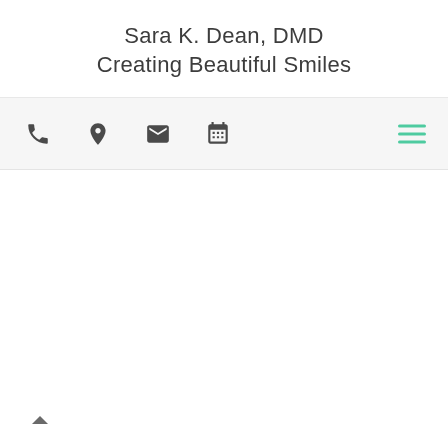Sara K. Dean, DMD
Creating Beautiful Smiles
[Figure (screenshot): Navigation bar with phone, location pin, envelope, and calendar icons on left side; teal hamburger menu icon on right side]
[Figure (other): Up-arrow chevron navigation button at bottom left]